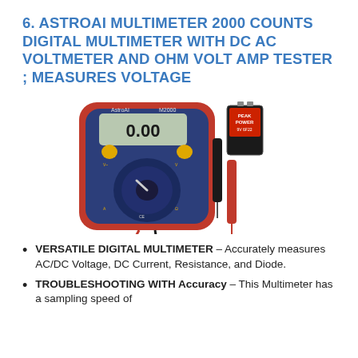6. ASTROAI MULTIMETER 2000 COUNTS DIGITAL MULTIMETER WITH DC AC VOLTMETER AND OHM VOLT AMP TESTER ; MEASURES VOLTAGE
[Figure (photo): AstroAI 2000 Counts Digital Multimeter with red and blue body, LCD display showing 0.00, dial selector, test leads (red and black), and a 9V battery]
VERSATILE DIGITAL MULTIMETER – Accurately measures AC/DC Voltage, DC Current, Resistance, and Diode.
TROUBLESHOOTING WITH Accuracy – This Multimeter has a sampling speed of